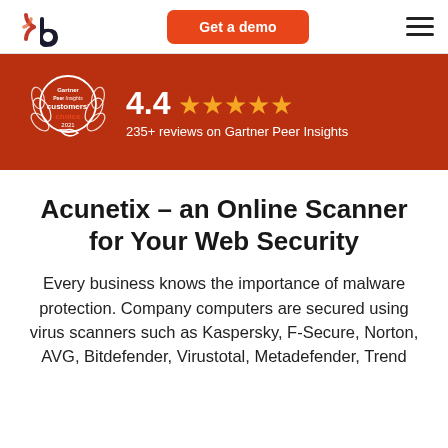[Figure (logo): Acunetix logo with stylized icon and wordmark]
Get a demo
[Figure (other): Hamburger menu icon (three horizontal lines)]
[Figure (other): Gartner Peer Insights Customers' Choice 2021 badge with laurel wreath circle]
4.4 ★★★★★ 235+ reviews on Gartner Peer Insights
Acunetix – an Online Scanner for Your Web Security
Every business knows the importance of malware protection. Company computers are secured using virus scanners such as Kaspersky, F-Secure, Norton, AVG, Bitdefender, Virustotal, Metadefender, Trend